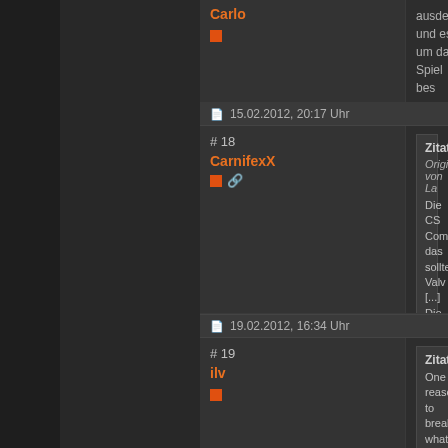Carlo
15.02.2012, 20:17 Uhr
# 18
CarnifexX
Zitat: Original von La... Die CS Comm... das sollte Valv... [...] Die Redaktuer... kommt, sehr p... CS:GO kaum n... den Konsolens...
ich finde deine pu... meinte CS:GO w... vollständigkeit ha... herumjammert. w... eher als gimmick...

Valve: "ach ja üb... spielen, warum a...

vlit wirds ja trotzo...
19.02.2012, 16:34 Uhr
# 19
ilv
Zitat: One reason to... breaking what...